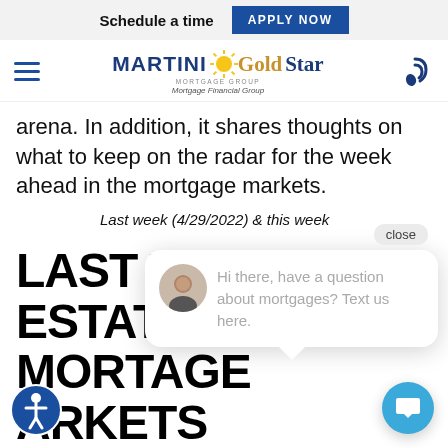Schedule a time   APPLY NOW
[Figure (logo): Martini Gold Star Mortgage Financial Group logo with sun graphic]
arena. In addition, it shares thoughts on what to keep on the radar for the week ahead in the mortgage markets.
Last week (4/29/2022) & this week
[Figure (other): Chat popup with avatar: Hi there, have a question about mortgages? Text us here.]
LAST W ESTATE & MORTAGE ARKETS